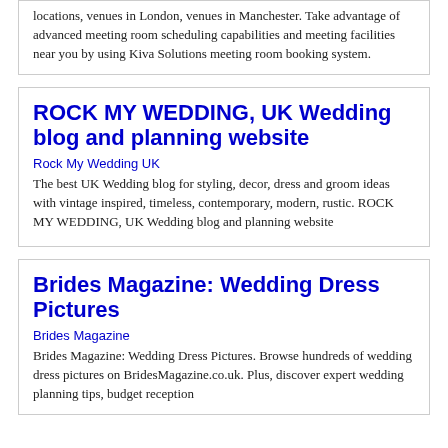locations, venues in London, venues in Manchester. Take advantage of advanced meeting room scheduling capabilities and meeting facilities near you by using Kiva Solutions meeting room booking system.
ROCK MY WEDDING, UK Wedding blog and planning website
Rock My Wedding UK
The best UK Wedding blog for styling, decor, dress and groom ideas with vintage inspired, timeless, contemporary, modern, rustic. ROCK MY WEDDING, UK Wedding blog and planning website
Brides Magazine: Wedding Dress Pictures
Brides Magazine
Brides Magazine: Wedding Dress Pictures. Browse hundreds of wedding dress pictures on BridesMagazine.co.uk. Plus, discover expert wedding planning tips, budget reception